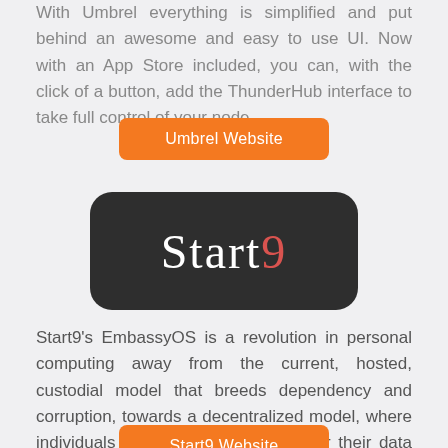With Umbrel everything is simplified and put behind an awesome and easy to use UI. Now with an App Store included, you can, with the click of a button, add the ThunderHub interface to take full control of your node.
[Figure (other): Orange button labeled 'Umbrel Website']
[Figure (logo): Start9 logo on dark rounded rectangle background with white serif text 'Start' and red '9']
Start9's EmbassyOS is a revolution in personal computing away from the current, hosted, custodial model that breeds dependency and corruption, towards a decentralized model, where individuals have absolute control over their data and communications.
[Figure (other): Orange button partially visible at bottom, labeled 'Start9 Website']